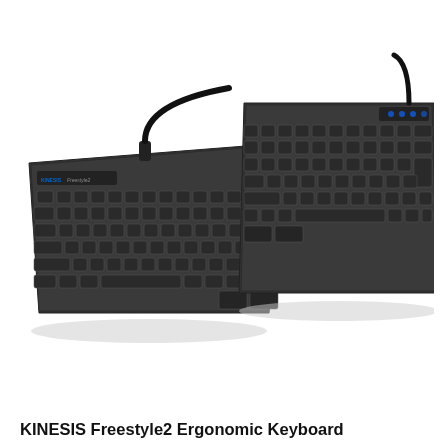[Figure (photo): Photo of a KINESIS Freestyle2 split ergonomic keyboard. The keyboard consists of two separate halves connected by a cable. The left half has the main alphabetic keys and modifier keys, with a KINESIS Freestyle2 logo on the top-left. The right half has the alphanumeric and navigation keys with blue LED indicators at the top. Both halves are black in color, shown from a slightly elevated angle.]
KINESIS Freestyle2 Ergonomic Keyboard